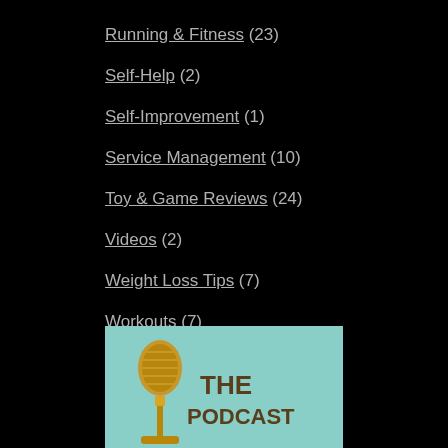Running & Fitness (23)
Self-Help (2)
Self-Improvement (1)
Service Management (10)
Toy & Game Reviews (24)
Videos (2)
Weight Loss Tips (7)
Workouts (7)
[Figure (illustration): A podcast logo with a gold vintage microphone on a light teal/mint background with text 'THE PODCAST' in dark brown bold letters]